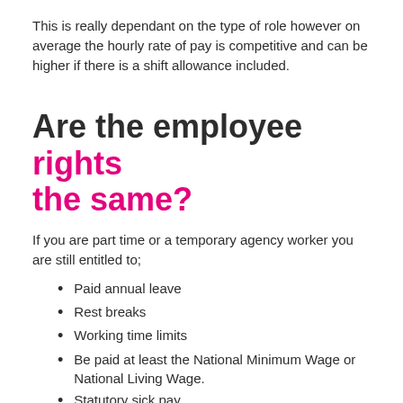This is really dependant on the type of role however on average the hourly rate of pay is competitive and can be higher if there is a shift allowance included.
Are the employee rights the same?
If you are part time or a temporary agency worker you are still entitled to;
Paid annual leave
Rest breaks
Working time limits
Be paid at least the National Minimum Wage or National Living Wage.
Statutory sick pay